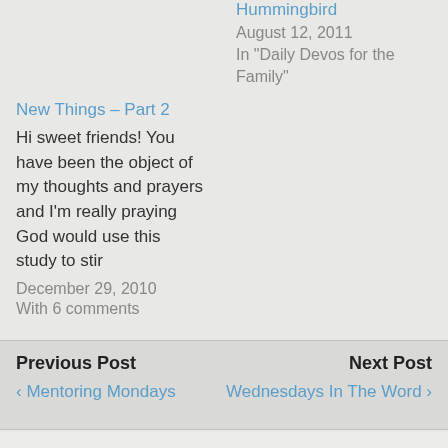Hummingbird
August 12, 2011
In "Daily Devos for the Family"
New Things – Part 2
Hi sweet friends! You have been the object of my thoughts and prayers and I'm really praying God would use this study to stir
December 29, 2010
With 6 comments
Previous Post
‹ Mentoring Mondays
Next Post
Wednesdays In The Word ›
1 response